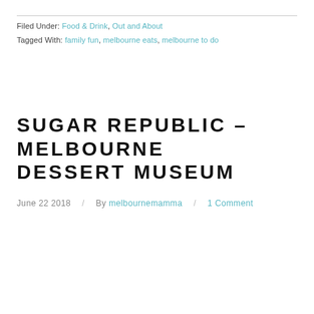Filed Under: Food & Drink, Out and About
Tagged With: family fun, melbourne eats, melbourne to do
SUGAR REPUBLIC – MELBOURNE DESSERT MUSEUM
June 22 2018  /  By melbournemamma  /  1 Comment